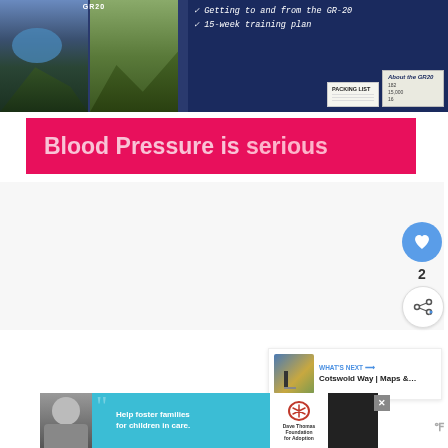[Figure (screenshot): Top banner with GR-20 hiking guide advertisement. Left side shows mountain landscape photos. Right side shows checklist items including 'Getting to and from the GR-20' and '15-week training plan', plus packing list and about GR20 cards.]
Blood Pressure is serious
[Figure (screenshot): UI widget showing a heart/like button (blue circle with heart icon) with count of 2, and a share button below it.]
[Figure (screenshot): WHAT'S NEXT panel showing Cotswold Way | Maps &... with thumbnail image]
[Figure (screenshot): Advertisement banner at bottom: Help foster families for children in care. Dave Thomas Foundation for Adoption logo. Weather widget showing temperature.]